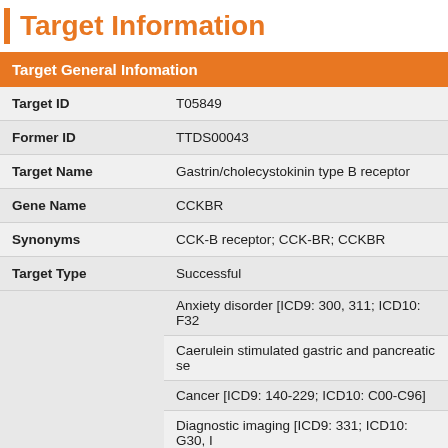Target Information
| Target General Infomation |  |
| --- | --- |
| Target ID | T05849 |
| Former ID | TTDS00043 |
| Target Name | Gastrin/cholecystokinin type B receptor |
| Gene Name | CCKBR |
| Synonyms | CCK-B receptor; CCK-BR; CCKBR |
| Target Type | Successful |
|  | Anxiety disorder [ICD9: 300, 311; ICD10: F32... |
|  | Caerulein stimulated gastric and pancreatic se... |
|  | Cancer [ICD9: 140-229; ICD10: C00-C96] |
|  | Diagnostic imaging [ICD9: 331; ICD10: G30, ... |
|  | Duodenal ulcers [ICD10: K25-K27] |
|  | Dyspepsia [ICD9: 536.8; ICD10: K30] |